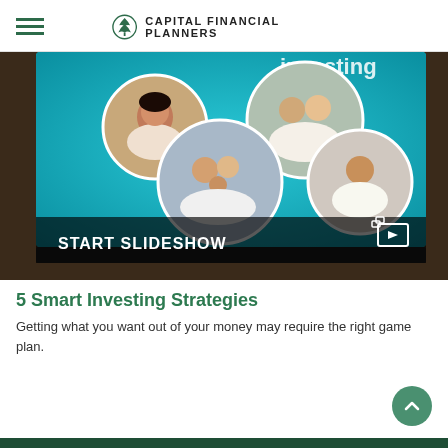CAPITAL FINANCIAL PLANNERS
[Figure (photo): A tablet displaying a teal-colored slide with circular portrait images of diverse people (a woman, an elderly couple, a family, and a man), with text reading 'Investing' visible. A dark overlay at the bottom reads 'START SLIDESHOW' with a slideshow icon.]
5 Smart Investing Strategies
Getting what you want out of your money may require the right game plan.